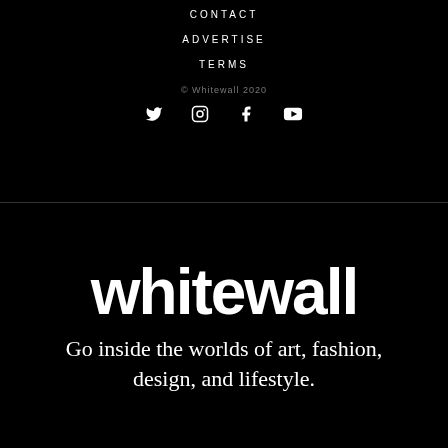CONTACT
ADVERTISE
TERMS
© Whitewall 2020
[Figure (other): Social media icons: Twitter, Instagram, Facebook, YouTube]
whitewall
Go inside the worlds of art, fashion, design, and lifestyle.